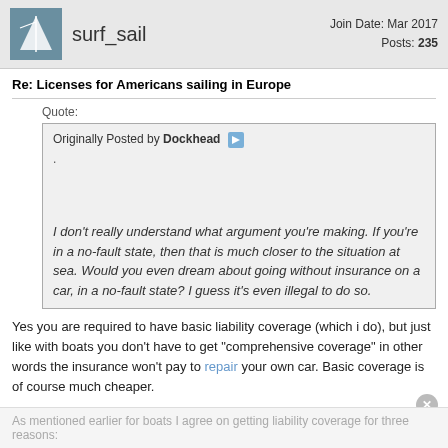surf_sail | Join Date: Mar 2017 | Posts: 235
Re: Licenses for Americans sailing in Europe
Quote:
Originally Posted by Dockhead
.
I don't really understand what argument you're making. If you're in a no-fault state, then that is much closer to the situation at sea. Would you even dream about going without insurance on a car, in a no-fault state? I guess it's even illegal to do so.
Yes you are required to have basic liability coverage (which i do), but just like with boats you don't have to get "comprehensive coverage" in other words the insurance won't pay to repair your own car. Basic coverage is of course much cheaper.
As mentioned earlier for boats I agree on getting liability coverage for three reasons: